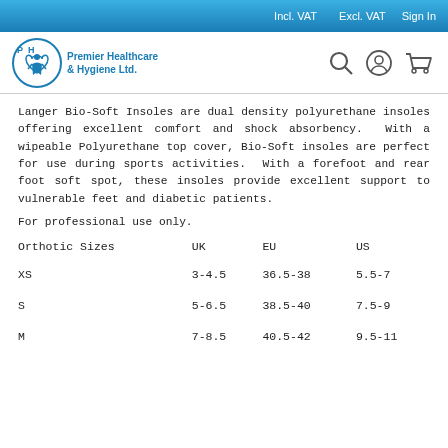Incl. VAT   Excl. VAT   Sign In
[Figure (logo): Premier Healthcare & Hygiene Ltd. logo with blue caduceus/figure icon and search, account, cart icons in header]
Langer Bio-Soft Insoles are dual density polyurethane insoles offering excellent comfort and shock absorbency.  With a wipeable Polyurethane top cover, Bio-Soft insoles are perfect for use during sports activities.  With a forefoot and rear foot soft spot, these insoles provide excellent support to vulnerable feet and diabetic patients.
For professional use only.
| Orthotic Sizes | UK | EU | US |
| --- | --- | --- | --- |
| XS | 3-4.5 | 36.5-38 | 5.5-7 |
| S | 5-6.5 | 38.5-40 | 7.5-9 |
| M | 7-8.5 | 40.5-42 | 9.5-11 |